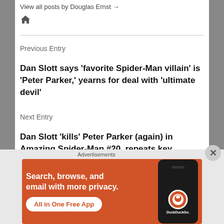View all posts by Douglas Ernst →
[Figure (illustration): Home icon (house symbol)]
Previous Entry
Dan Slott says 'favorite Spider-Man villain' is 'Peter Parker,' yearns for deal with 'ultimate devil'
Next Entry
Dan Slott 'kills' Peter Parker (again) in Amazing Spider-Man #20, repeats key mistake from infamous Clone Saga
Advertisements
[Figure (illustration): DuckDuckGo advertisement banner with orange background. Text: 'Search, browse, and email with more privacy. All in One Free App'. Shows a phone with DuckDuckGo logo.]